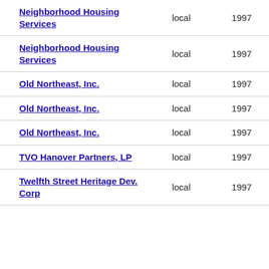| Organization | Scope | Year |
| --- | --- | --- |
| Neighborhood Housing Services | local | 1997 |
| Neighborhood Housing Services | local | 1997 |
| Old Northeast, Inc. | local | 1997 |
| Old Northeast, Inc. | local | 1997 |
| Old Northeast, Inc. | local | 1997 |
| TVO Hanover Partners, LP | local | 1997 |
| Twelfth Street Heritage Dev. Corp | local | 1997 |